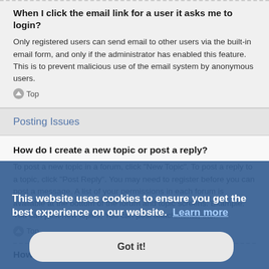When I click the email link for a user it asks me to login?
Only registered users can send email to other users via the built-in email form, and only if the administrator has enabled this feature. This is to prevent malicious use of the email system by anonymous users.
Top
Posting Issues
How do I create a new topic or post a reply?
To post a new topic in a forum, click "New Topic". To post a reply to a topic, click "Post Reply". You may need to register before you can post a message. A list of your permissions in each forum is available at the bottom of the forum and topic screens. Example: You can post new topics, You can post attachments, etc.
Top
How do I edit or delete a post?
This website uses cookies to ensure you get the best experience on our website. Learn more
Got it!